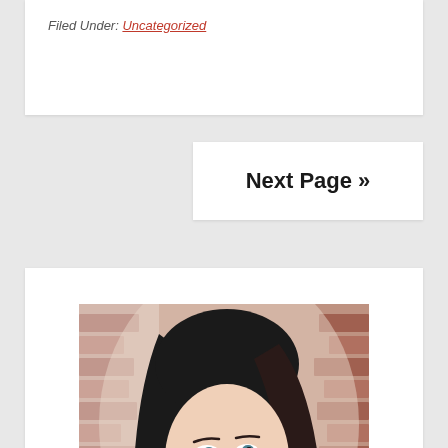Filed Under: Uncategorized
Next Page »
[Figure (photo): Professional headshot of a woman with dark hair, light eyes, wearing a black leather jacket, leaning against a brick wall background.]